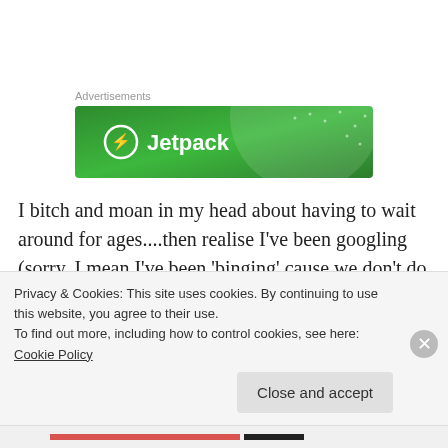Advertisements
[Figure (logo): Jetpack green advertisement banner with Jetpack logo and name]
I bitch and moan in my head about having to wait around for ages....then realise I’ve been googling (sorry, I mean I’ve been ‘binging’ cause we don’t do that google stuff here of course – Google is the devil) holidays in Thailand for too long. I run through the station mentally
Privacy & Cookies: This site uses cookies. By continuing to use this website, you agree to their use.
To find out more, including how to control cookies, see here: Cookie Policy
Close and accept